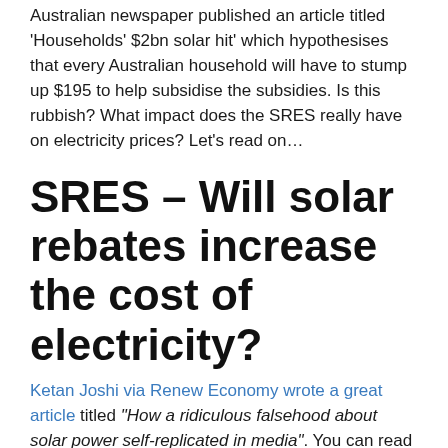Australian newspaper published an article titled 'Households' $2bn solar hit' which hypothesises that every Australian household will have to stump up $195 to help subsidise the subsidies. Is this rubbish? What impact does the SRES really have on electricity prices? Let's read on…
SRES – Will solar rebates increase the cost of electricity?
Ketan Joshi via Renew Economy wrote a great article titled "How a ridiculous falsehood about solar power self-replicated in media". You can read it on Ketan's blog (ketanjoshi85) by clicking here. The "$2b solar hit" is a sum which has been basically made up through some extremely shoddy extrapolations.
The article in the Australian was run with by a number of Australia's most trusted media outlets – News.com.au, 7 News, Sky News, the Today Show, and the consistently atrocious Daily